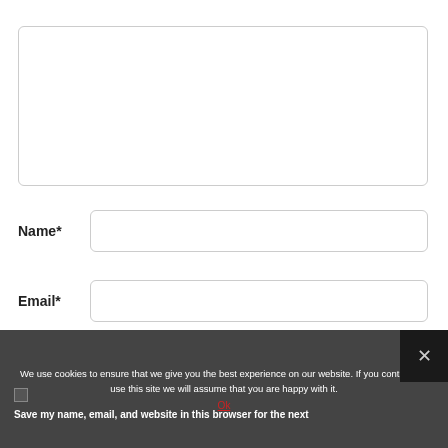[Figure (screenshot): Empty textarea input box with rounded border]
Name*
[Figure (screenshot): Empty Name text input field with rounded border]
Email*
[Figure (screenshot): Empty Email text input field with rounded border]
We use cookies to ensure that we give you the best experience on our website. If you continue to use this site we will assume that you are happy with it.
Ok
Save my name, email, and website in this browser for the next